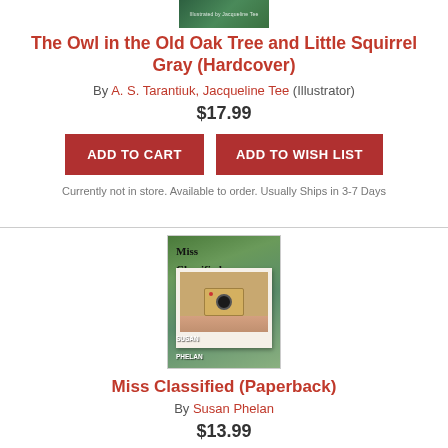[Figure (illustration): Partial top of a book cover with green background and text 'Illustrated by Jacqueline Tee']
The Owl in the Old Oak Tree and Little Squirrel Gray (Hardcover)
By A. S. Tarantiuk, Jacqueline Tee (Illustrator)
$17.99
ADD TO CART   ADD TO WISH LIST
Currently not in store. Available to order. Usually Ships in 3-7 Days
[Figure (illustration): Book cover of Miss Classified by Susan Phelan, showing a Polaroid camera held by hands against a green background]
Miss Classified (Paperback)
By Susan Phelan
$13.99